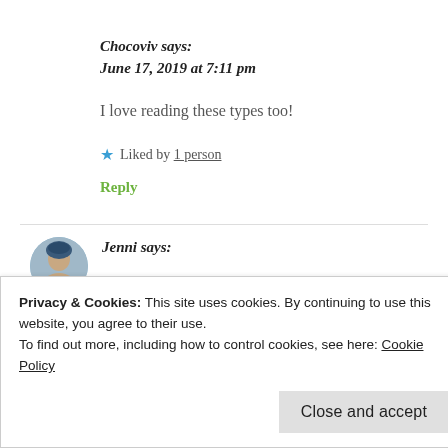Chocoviv says:
June 17, 2019 at 7:11 pm
I love reading these types too!
★ Liked by 1 person
Reply
Jenni says:
Privacy & Cookies: This site uses cookies. By continuing to use this website, you agree to their use.
To find out more, including how to control cookies, see here: Cookie Policy
Close and accept
★ Liked by 1 person